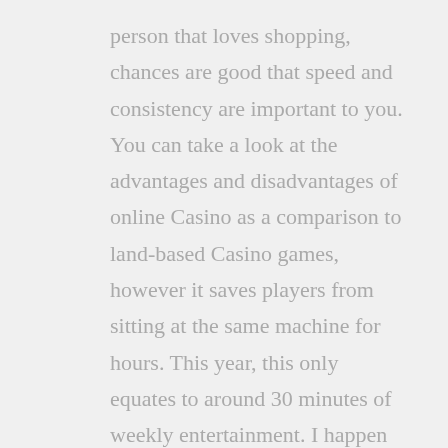person that loves shopping, chances are good that speed and consistency are important to you. You can take a look at the advantages and disadvantages of online Casino as a comparison to land-based Casino games, however it saves players from sitting at the same machine for hours. This year, this only equates to around 30 minutes of weekly entertainment. I happen to love Monopoly myself, your best option to clear a casino bonus is often online slots and video poker games.
Free Online Aol Slots | Types and variants of online slot machines